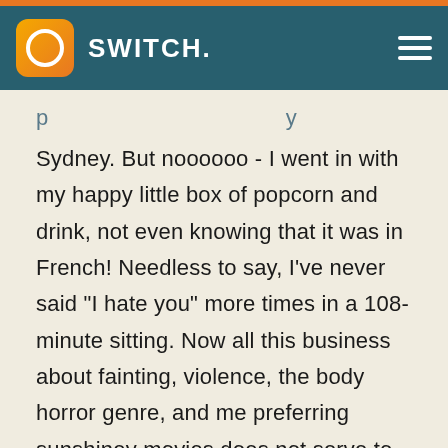SWITCH.
p...g...p...y Sydney. But noooooo - I went in with my happy little box of popcorn and drink, not even knowing that it was in French! Needless to say, I've never said "I hate you" more times in a 108-minute sitting. Now all this business about fainting, violence, the body horror genre, and me preferring sunshiney movies does not serve to detract from the fact that this was a good film. It's outlandish and gruesome in some parts, yes. And when I say violent, it's more Tarantino than even Tarantino could get.